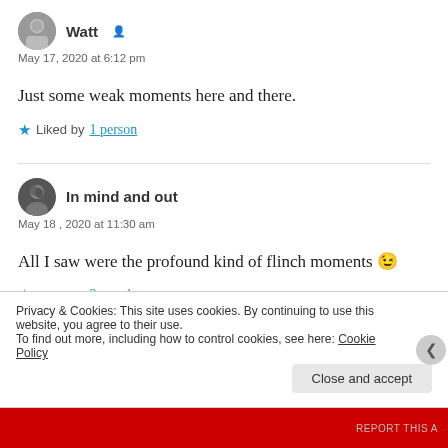Watt
May 17, 2020 at 6:12 pm
Just some weak moments here and there.
Liked by 1 person
In mind and out
May 18 , 2020 at 11:30 am
All I saw were the profound kind of flinch moments 😉
Liked by 2 people
Privacy & Cookies: This site uses cookies. By continuing to use this website, you agree to their use. To find out more, including how to control cookies, see here: Cookie Policy
Close and accept